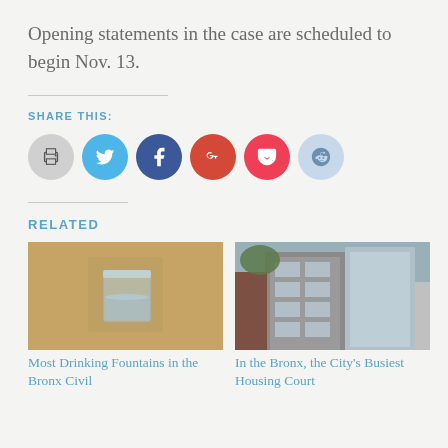Opening statements in the case are scheduled to begin Nov. 13.
SHARE THIS:
[Figure (infographic): Social share buttons: Print, Twitter, Facebook, Google+, Pocket, Reddit]
RELATED
[Figure (photo): Photo of a drinking fountain with glass of water on yellow/tan background]
Most Drinking Fountains in the Bronx Civil
[Figure (photo): Photo of a tall brick and glass building exterior, housing court]
In the Bronx, the City's Busiest Housing Court